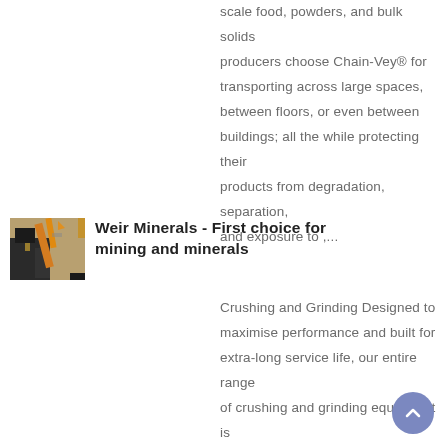scale food, powders, and bulk solids producers choose Chain-Vey® for transporting across large spaces, between floors, or even between buildings; all the while protecting their products from degradation, separation, and exposure to ,...
[Figure (photo): Thumbnail photo of industrial mining or crushing equipment with yellow/orange machinery]
Weir Minerals - First choice for mining and minerals
Crushing and Grinding Designed to maximise performance and built for extra-long service life, our entire range of crushing and grinding equipment is backed by the Weir Minerals Service network, operating in over 70 countries